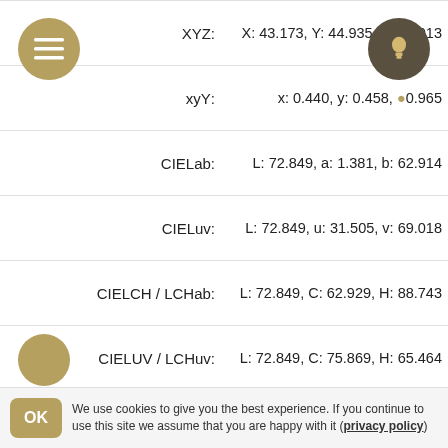:XYZ  X: 43.173, Y: 44.935, Z: 10.013
:xyY  x: 0.440, y: 0.458, ...
:CIELab  L: 72.849, a: 1.381, b: 62.914
:CIELuv  L: 72.849, u: 31.505, v: 69.018
:CIELCH / LCHab  L: 72.849, C: 62.929, H: 88.743
:CIELUV / LCHuv  L: 72.849, C: 75.869, H: 65.464
:Hunter-Lab  L: 67.034, a: -2.346, b: 38.067
:CIECAM02  J: 65.394, C: 52.151, h: 88.793, Q: 159.324, M: 45.605, s: 53.502, H: 98.031
:OSA-UCS  میزان نور: -9.811, زرد: 8.745, سبز: -0.026
:LMS  L: 49.316, M: 45.962, S: 10.588
We use cookies to give you the best experience. If you continue to use this site we assume that you are happy with it (privacy policy)